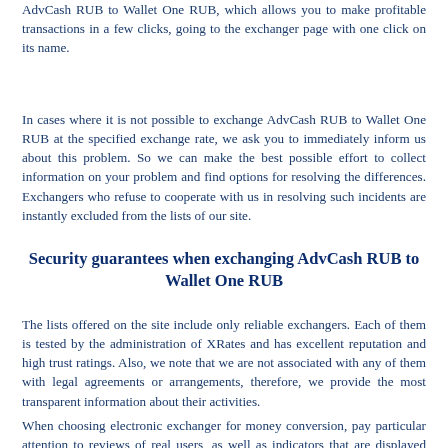AdvCash RUB to Wallet One RUB, which allows you to make profitable transactions in a few clicks, going to the exchanger page with one click on its name.
In cases where it is not possible to exchange AdvCash RUB to Wallet One RUB at the specified exchange rate, we ask you to immediately inform us about this problem. So we can make the best possible effort to collect information on your problem and find options for resolving the differences. Exchangers who refuse to cooperate with us in resolving such incidents are instantly excluded from the lists of our site.
Security guarantees when exchanging AdvCash RUB to Wallet One RUB
The lists offered on the site include only reliable exchangers. Each of them is tested by the administration of XRates and has excellent reputation and high trust ratings. Also, we note that we are not associated with any of them with legal agreements or arrangements, therefore, we provide the most transparent information about their activities.
When choosing electronic exchanger for money conversion, pay particular attention to reviews of real users, as well as indicators that are displayed inside the table. This approach will allow you